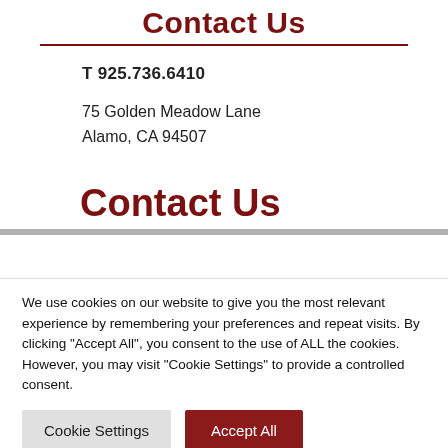Contact Us
T 925.736.6410
75 Golden Meadow Lane
Alamo, CA 94507
Contact Us
We use cookies on our website to give you the most relevant experience by remembering your preferences and repeat visits. By clicking "Accept All", you consent to the use of ALL the cookies. However, you may visit "Cookie Settings" to provide a controlled consent.
Cookie Settings | Accept All